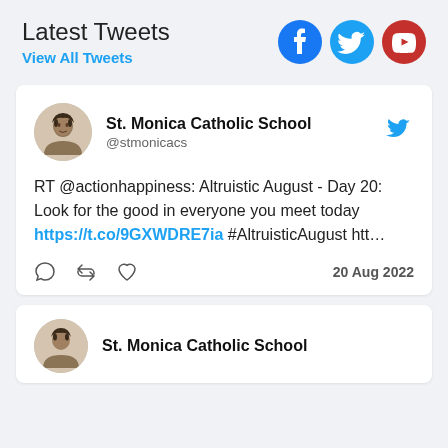Latest Tweets
View All Tweets
[Figure (screenshot): Social media icons: Facebook (blue circle with f), Twitter (light blue circle with bird), YouTube (red circle with play button)]
[Figure (screenshot): Tweet card from St. Monica Catholic School (@stmonicacs): RT @actionhappiness: Altruistic August - Day 20: Look for the good in everyone you meet today https://t.co/9GXWDRE7ia #AltruisticAugust htt... — 20 Aug 2022]
[Figure (screenshot): Partial tweet card showing St. Monica Catholic School avatar and name at bottom of page]